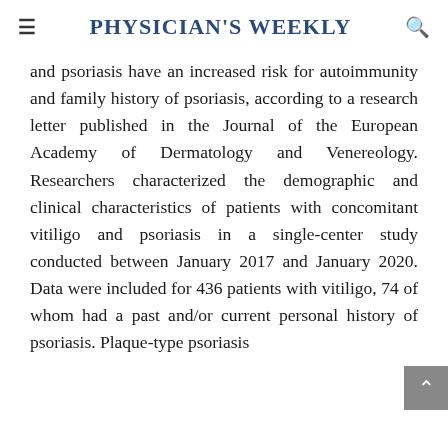Physician's Weekly
and psoriasis have an increased risk for autoimmu nity and family history of psoriasis, according to a research letter published in the Journal of the European Academy of Dermatology and Venereology. Researchers characterized the demographic and clinical characteristics of patients with concomi tant vitiligo and psoriasis in a single-center study conducted between January 2017 and January 2020. Data were included for 436 patients with vitiligo, 74 of whom had a past and/or current personal history of psoriasis. Plaque-type psoriasis